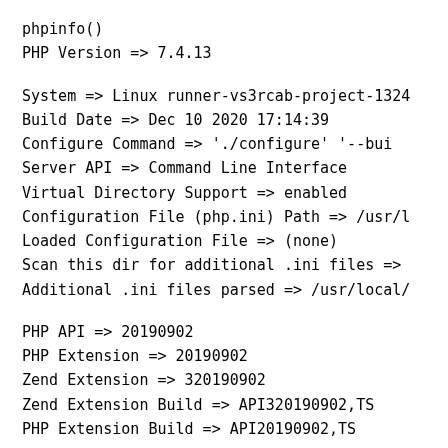phpinfo()
PHP Version => 7.4.13
System => Linux runner-vs3rcab-project-1324
Build Date => Dec 10 2020 17:14:39
Configure Command =>  './configure'  '--bui
Server API => Command Line Interface
Virtual Directory Support => enabled
Configuration File (php.ini) Path => /usr/l
Loaded Configuration File => (none)
Scan this dir for additional .ini files =>
Additional .ini files parsed => /usr/local/
PHP API => 20190902
PHP Extension => 20190902
Zend Extension => 320190902
Zend Extension Build => API320190902,TS
PHP Extension Build => API20190902,TS